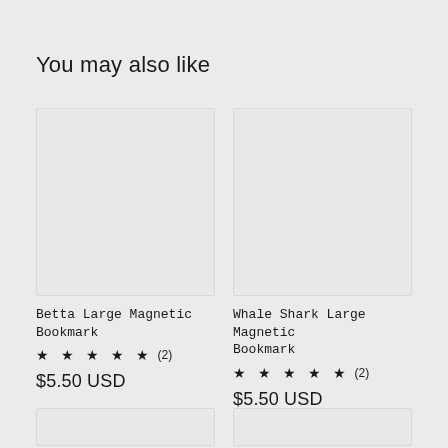You may also like
[Figure (photo): Product image placeholder for Betta Large Magnetic Bookmark (light gray rectangle)]
Betta Large Magnetic Bookmark
★ ★ ★ ★ ★ (2)
$5.50 USD
[Figure (photo): Product image placeholder for Whale Shark Large Magnetic Bookmark (light gray rectangle)]
Whale Shark Large Magnetic Bookmark
★ ★ ★ ★ ★ (2)
$5.50 USD
[Figure (photo): Product image placeholder bottom left (partially visible)]
[Figure (photo): Product image placeholder bottom right (partially visible)]